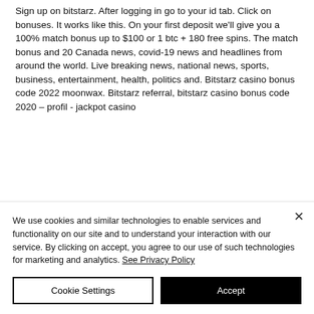Sign up on bitstarz. After logging in go to your id tab. Click on bonuses. It works like this. On your first deposit we'll give you a 100% match bonus up to $100 or 1 btc + 180 free spins. The match bonus and 20 Canada news, covid-19 news and headlines from around the world. Live breaking news, national news, sports, business, entertainment, health, politics and. Bitstarz casino bonus code 2022 moonwax. Bitstarz referral, bitstarz casino bonus code 2020 – profil - jackpot casino
We use cookies and similar technologies to enable services and functionality on our site and to understand your interaction with our service. By clicking on accept, you agree to our use of such technologies for marketing and analytics. See Privacy Policy